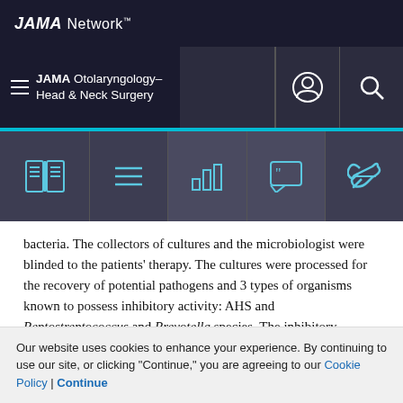JAMA Network™
JAMA Otolaryngology–Head & Neck Surgery
bacteria. The collectors of cultures and the microbiologist were blinded to the patients' therapy. The cultures were processed for the recovery of potential pathogens and 3 types of organisms known to possess inhibitory activity: AHS and Peptostreptococcus and Prevotella species. The inhibitory activity of the 3 types of organisms, known to possess inhibitory activity, was tested as previously described8 against 1 strain each of a recent clinical isolate of S. pneumoniae, H. influenzae, M. catarrhalis, and
Our website uses cookies to enhance your experience. By continuing to use our site, or clicking "Continue," you are agreeing to our Cookie Policy | Continue